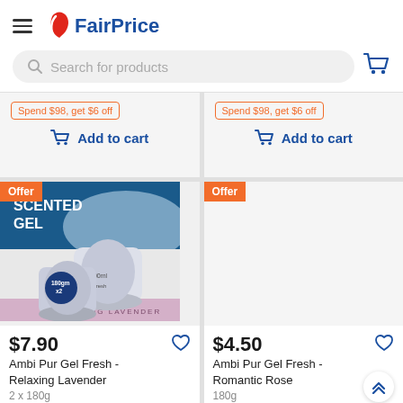FairPrice
Search for products
Spend $98, get $6 off | Add to cart (left card top)
Spend $98, get $6 off | Add to cart (right card top)
[Figure (photo): Ambi Pur Gel Fresh Relaxing Lavender scented gel product, two containers, 180gm x2]
$7.90
Ambi Pur Gel Fresh - Relaxing Lavender
2 x 180g
$4.50
Ambi Pur Gel Fresh - Romantic Rose
180g